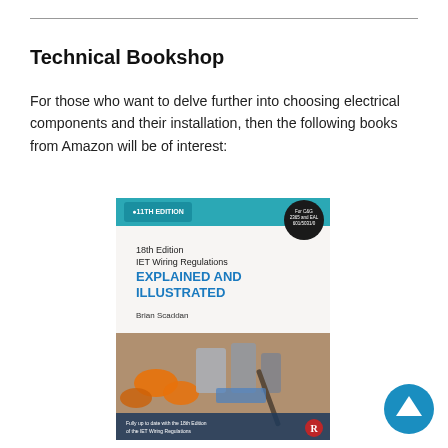Technical Bookshop
For those who want to delve further into choosing electrical components and their installation, then the following books from Amazon will be of interest:
[Figure (illustration): Book cover: 18th Edition IET Wiring Regulations Explained and Illustrated, 11th Edition, by Brian Scaddan. Cover shows electrical components including wire connectors and a screwdriver. Teal/blue color scheme. Badge reads 'Fully up to date with the 18th Edition of the IET Wiring Regulations'.]
[Figure (illustration): Blue circular button with white upward arrow icon, positioned bottom-right corner.]